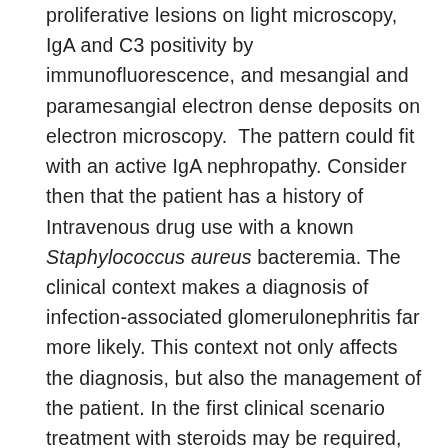proliferative lesions on light microscopy, IgA and C3 positivity by immunofluorescence, and mesangial and paramesangial electron dense deposits on electron microscopy.  The pattern could fit with an active IgA nephropathy. Consider then that the patient has a history of Intravenous drug use with a known Staphylococcus aureus bacteremia. The clinical context makes a diagnosis of  infection-associated glomerulonephritis far more likely. This context not only affects the diagnosis, but also the management of the patient. In the first clinical scenario treatment with steroids may be required, however, in the second scenario, antibiotic therapy and treatment of the underlying infection is required and steroid treatment may adversely affect the outcome. It's ultimately the context